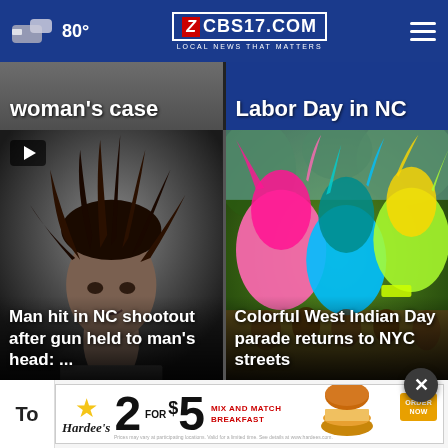80° CBS17.COM — LOCAL NEWS THAT MATTERS
woman's case
Labor Day in NC
[Figure (photo): Mugshot of a man with dreadlocks]
Man hit in NC shootout after gun held to man's head: ...
[Figure (photo): Colorful West Indian Day parade crowd with bright feathered costumes]
Colorful West Indian Day parade returns to NYC streets
[Figure (infographic): Hardee's advertisement: 2 for $5 Mix and Match Breakfast]
To